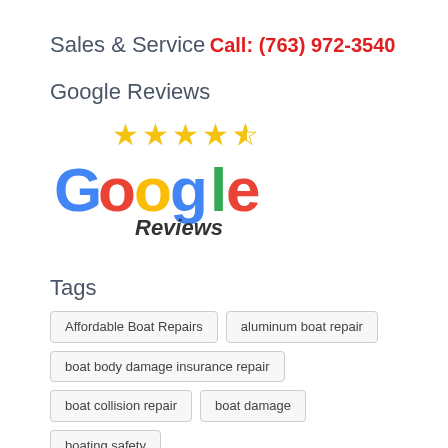Sales & Service
Call: (763) 972-3540
Google Reviews
[Figure (logo): Google Reviews logo with four and a half gold stars above the colorful Google wordmark and 'Reviews' text in italic below]
Tags
Affordable Boat Repairs
aluminum boat repair
boat body damage insurance repair
boat collision repair
boat damage
boating safety
boat insurance claim and repair process
boat insurance repair company
Boat Insurance Repairs
boat maintenance
boat painting
Boat Pick Up Services